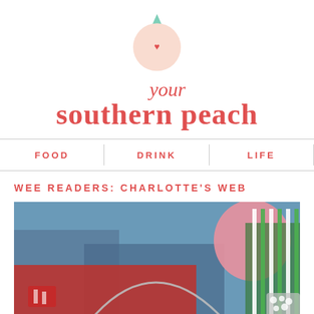[Figure (logo): Your Southern Peach blog logo: a peach circle with a teal leaf on top and a small red heart, followed by italic 'your' and bold 'southern peach' text in coral/red color]
FOOD   DRINK   LIFE
WEE READERS: CHARLOTTE'S WEB
[Figure (photo): Close-up photograph of colorful party items on a table: a pink ball/balloon, green and white striped straws in a container, red and white decorations, and a small bucket with white popcorn or snacks]